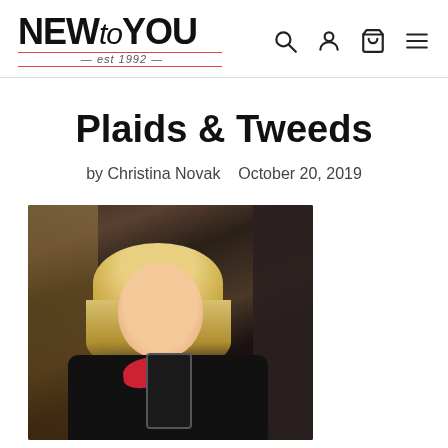NEW to YOU est 1992
Plaids & Tweeds
by Christina Novak   October 20, 2019
[Figure (photo): Woman with blonde hair wearing black outfit with red scarf, taking a mirror selfie]